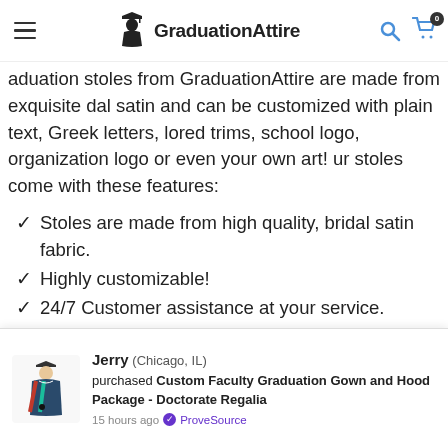GraduationAttire
aduation stoles from GraduationAttire are made from exquisite dal satin and can be customized with plain text, Greek letters, lored trims, school logo, organization logo or even your own art! ur stoles come with these features:
Stoles are made from high quality, bridal satin fabric.
Highly customizable!
24/7 Customer assistance at your service.
you want to purchase graduation stoles on behalf of your school or ganization, feel free to contact us. We offer incredible discounts for lk purchases!
Jerry (Chicago, IL) purchased Custom Faculty Graduation Gown and Hood Package - Doctorate Regalia 15 hours ago ProveSource